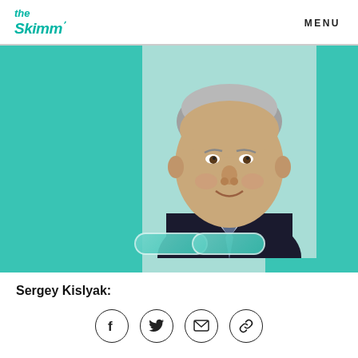the Skimm' MENU
[Figure (photo): Portrait photo of Sergey Kislyak, a heavyset older man with gray hair wearing a dark suit and striped tie, set against a teal/mint background with decorative vertical teal bars and pill-shaped decorative elements at the bottom.]
Sergey Kislyak:
[Figure (other): Row of four social sharing icons: Facebook (f), Twitter (bird), Email (envelope), Link (chain link), each inside a circle outline.]